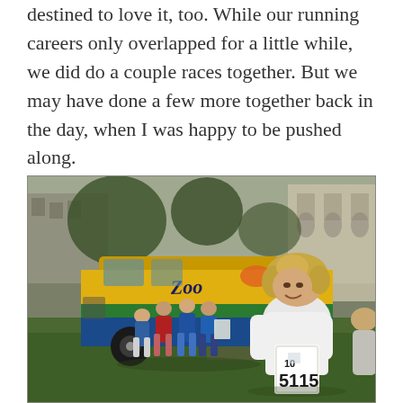destined to love it, too. While our running careers only overlapped for a little while, we did do a couple races together. But we may have done a few more together back in the day, when I was happy to be pushed along.
[Figure (photo): Vintage photograph of a woman in a white long-sleeve running top with race bib number 5115 smiling at the camera. Behind her is a colorfully painted Zoo van and a group of people standing in a park setting with buildings in the background.]